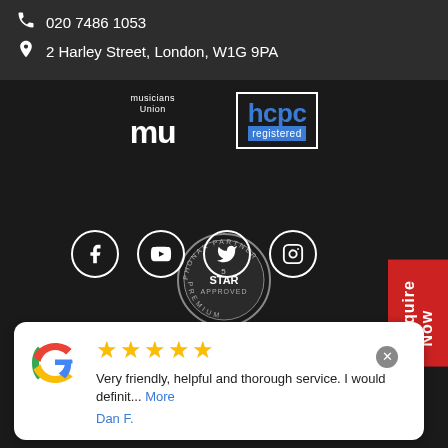020 7486 1053
2 Harley Street, London, W1G 9PA
[Figure (logo): Musicians Union MU logo in white]
[Figure (logo): HCPC registered logo with blue text]
[Figure (logo): Phonak Partner 5 Star Approved Premium badge]
[Figure (logo): Social media icons: Facebook, YouTube, Twitter, Instagram]
Enquire Now
Very friendly, helpful and thorough service. I would definit... More
Dan F.